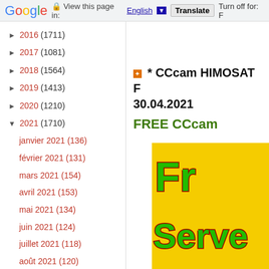Google | View this page in: English [▼] Translate | Turn off for: F
► 2016 (1711)
► 2017 (1081)
► 2018 (1564)
► 2019 (1413)
► 2020 (1210)
▼ 2021 (1710)
janvier 2021 (136)
février 2021 (131)
mars 2021 (154)
avril 2021 (153)
mai 2021 (134)
juin 2021 (124)
juillet 2021 (118)
août 2021 (120)
septembre 2021 (149)
octobre 2021 (177)
* CCcam HIMOSAT F… 30.04.2021
FREE CCcam
[Figure (photo): Yellow background image with green text outlined in red reading 'Free Server']